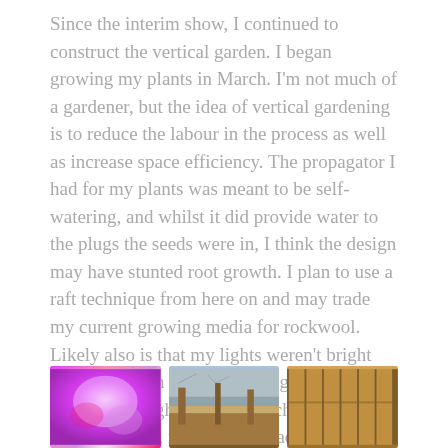Since the interim show, I continued to construct the vertical garden. I began growing my plants in March. I'm not much of a gardener, but the idea of vertical gardening is to reduce the labour in the process as well as increase space efficiency. The propagator I had for my plants was meant to be self-watering, and whilst it did provide water to the plugs the seeds were in, I think the design may have stunted root growth. I plan to use a raft technique from here on and may trade my current growing media for rockwool. Likely also is that my lights weren't bright enough, nor on regularly enough for long enough. I bought a timer switch to provide 18 hours sunlight, it broke. I replaced it, that didn't work. I returned and replaced that, it broke. So I gave up with that and just had the plants growing when I was awake.
[Figure (photo): Three photos side by side: left shows plants under pink/purple grow light, middle shows outdoor garden scene with fence and bare tree, right shows wooden fence panels.]